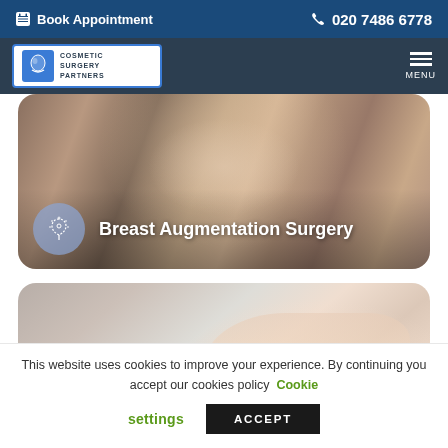Book Appointment  020 7486 6778
[Figure (logo): Cosmetic Surgery Partners logo with blue face icon and text: COSMETIC SURGERY PARTNERS]
[Figure (photo): Hero image card showing a woman in white lingerie - Breast Augmentation Surgery with icon overlay and title text]
[Figure (photo): Second card image showing a woman's torso/arm on grey background]
This website uses cookies to improve your experience. By continuing you accept our cookies policy  Cookie settings  ACCEPT